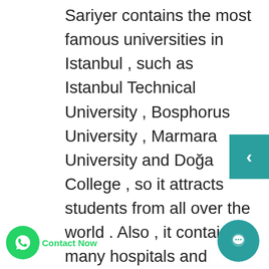Sariyer contains the most famous universities in Istanbul , such as Istanbul Technical University , Bosphorus University , Marmara University and Doğa College , so it attracts students from all over the world . Also , it contains many hospitals and public clinics that provide health care to the residents . One of the most popular real estate areas in Sariyer is Tarabya , Yenikoy and İstinye , and each has its own